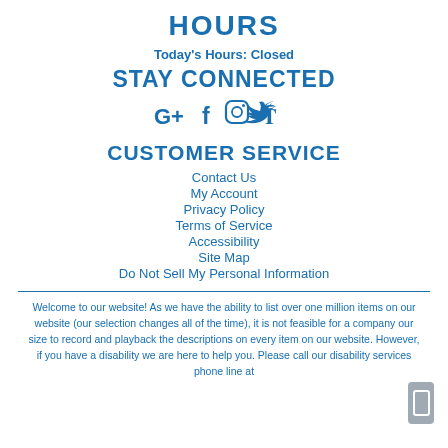HOURS
Today's Hours: Closed
STAY CONNECTED
[Figure (infographic): Social media icons: Google+, Facebook, Instagram, Twitter]
CUSTOMER SERVICE
Contact Us
My Account
Privacy Policy
Terms of Service
Accessibility
Site Map
Do Not Sell My Personal Information
Welcome to our website! As we have the ability to list over one million items on our website (our selection changes all of the time), it is not feasible for a company our size to record and playback the descriptions on every item on our website. However, if you have a disability we are here to help you. Please call our disability services phone line at